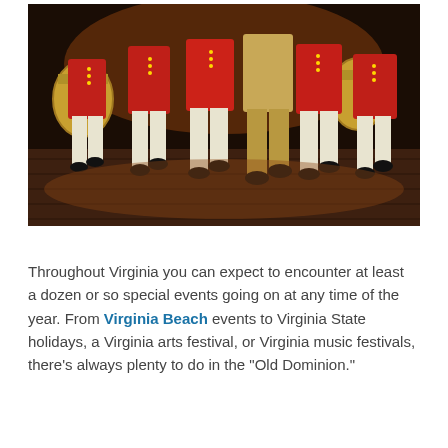[Figure (photo): Photograph of colonial-era soldiers or band members in red and white uniforms marching on a wooden stage floor, legs and lower bodies visible, drummers in background]
Throughout Virginia you can expect to encounter at least a dozen or so special events going on at any time of the year. From Virginia Beach events to Virginia State holidays, a Virginia arts festival, or Virginia music festivals, there's always plenty to do in the "Old Dominion."